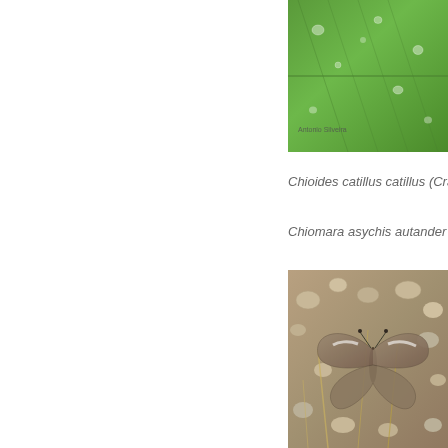[Figure (photo): Close-up photograph of a green leaf with water droplets, with a small watermark text 'Antonio Silveira' visible at the bottom left of the photo]
Chioides catillus catillus (Cram...
Chiomara asychis autander (M...
[Figure (photo): Photograph of a butterfly resting on rocky/sandy ground with small stones and dry grass]